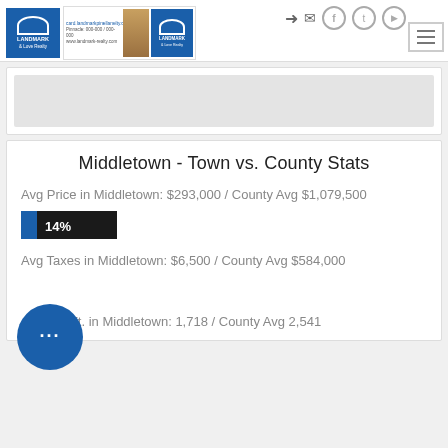[Figure (logo): Landmark & Love Realty logo and agent photo header]
[Figure (screenshot): Gray banner/advertisement area]
Middletown - Town vs. County Stats
Avg Price in Middletown: $293,000 / County Avg $1,079,500
[Figure (infographic): Progress bar showing 14% blue segment with dark label '14%']
Avg Taxes in Middletown: $6,500 / County Avg $584,000
Avg Sq. Ft. in Middletown: 1,718 / County Avg 2,541